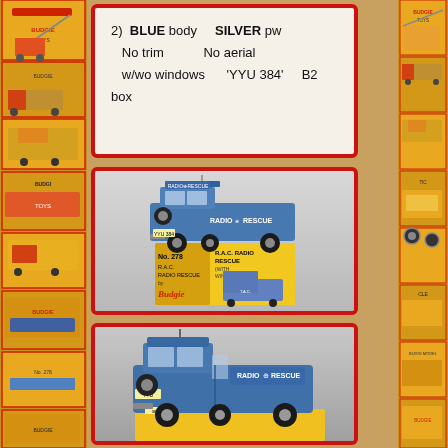2)  BLUE body    SILVER pw
   No trim           No aerial
   w/wo windows     'YYU 384'      B2 box
[Figure (photo): Blue RAC Radio Rescue Land Rover die-cast toy (No. 278 by Budgie) displayed on top of its yellow box. The box reads 'No. 278 R.A.C. Radio Rescue by Budgie' and 'R.A.C. Radio Rescue (with windows)'. The vehicle is blue with 'Radio Rescue' markings.]
[Figure (photo): Blue RAC Radio Rescue Land Rover die-cast toy, closer view showing the vehicle on a yellow box base. The vehicle shows 'Radio Rescue' lettering on the side.]
[Figure (photo): Background collage of vintage Budgie Toys boxes in yellow and red, visible on the left and right margins of the page.]